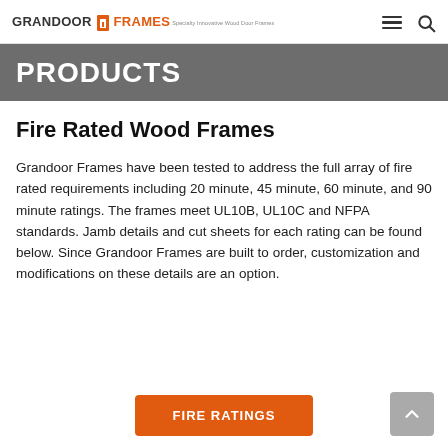GRANDOOR FRAMES — Specialty Innovative Wood Door Frames
PRODUCTS
Fire Rated Wood Frames
Grandoor Frames have been tested to address the full array of fire rated requirements including 20 minute, 45 minute, 60 minute, and 90 minute ratings. The frames meet UL10B, UL10C and NFPA standards. Jamb details and cut sheets for each rating can be found below. Since Grandoor Frames are built to order, customization and modifications on these details are an option.
FIRE RATINGS